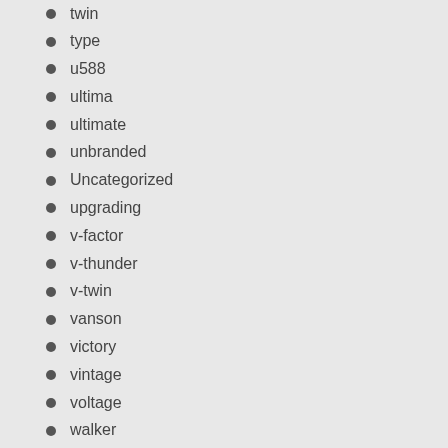twin
type
u588
ultima
ultimate
unbranded
Uncategorized
upgrading
v-factor
v-thunder
v-twin
vanson
victory
vintage
voltage
walker
want
wash
watch
western
white